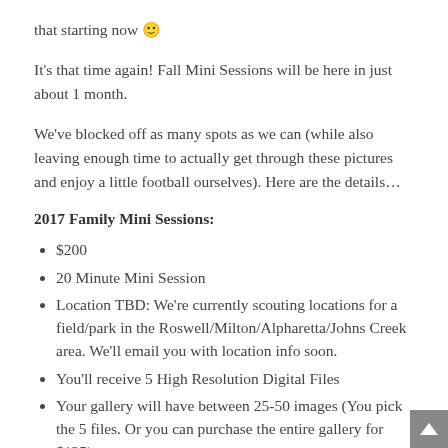that starting now 🙂
It's that time again! Fall Mini Sessions will be here in just about 1 month.
We've blocked off as many spots as we can (while also leaving enough time to actually get through these pictures and enjoy a little football ourselves). Here are the details…
2017 Family Mini Sessions:
$200
20 Minute Mini Session
Location TBD: We're currently scouting locations for a field/park in the Roswell/Milton/Alpharetta/Johns Creek area. We'll email you with location info soon.
You'll receive 5 High Resolution Digital Files
Your gallery will have between 25-50 images (You pick the 5 files. Or you can purchase the entire gallery for $125)